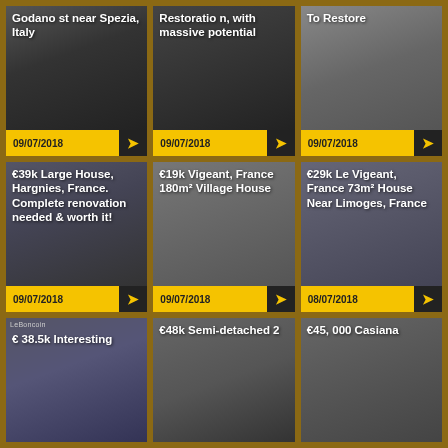[Figure (photo): Property listing card: house near Spezia Italy]
[Figure (photo): Property listing card: Restoration with massive potential]
[Figure (photo): Property listing card: To Restore]
[Figure (photo): Property listing card: €39k Large House Hargnies France]
[Figure (photo): Property listing card: €19k Vigeant France 180m² Village House]
[Figure (photo): Property listing card: €29k Le Vigeant France 73m² House Near Limoges]
[Figure (photo): Property listing card: €38.5k Interesting house]
[Figure (photo): Property listing card: €48k Semi-detached 2]
[Figure (photo): Property listing card: €45,000 Casiana]